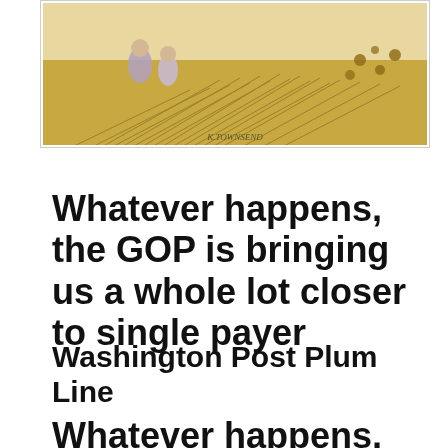[Figure (illustration): Illustration of figures in a field with windswept grasses, signed K.TOWNSEND at bottom center]
Whatever happens, the GOP is bringing us a whole lot closer to single payer
Washington Post Plum Line
Whatever happens, the